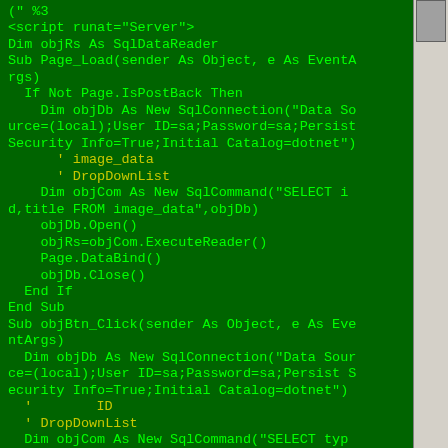[Figure (screenshot): Code editor screenshot showing VB.NET/ASP.NET server-side code on a dark green background with bright green monospace text. Code includes script tag, SqlDataReader, Page_Load and objBtn_Click subroutines with SqlConnection and SqlCommand objects. Yellow comment lines with Chinese/Japanese characters are interspersed.]